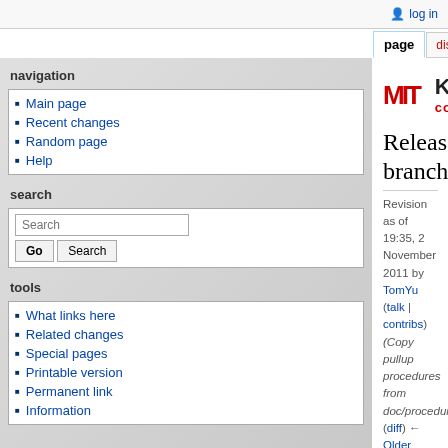log in
page | discussion | view source | history
[Figure (logo): MIT Kerberos Consortium logo with keys graphic]
Release branches
Revision as of 19:35, 2 November 2011 by TomYu (talk | contribs) (Copy pullup procedures from doc/procedures.txt)
(diff) ← Older revision | Latest revision (diff) | Newer revision → (diff)
MIT Kerberos creates release branches or forks of the code in its Subversion repository in order to provide stability and tighter control as releases approach. Normally development is done on the trunk; all committers can make changes to introduce new functionality and bug fixes there.
While we try to keep the trunk stable, we also try to make it available as a place to introduce new functionality. So, the trunk does not meet the stability requirements of our releases.
navigation
Main page
Recent changes
Random page
Help
search
tools
What links here
Related changes
Special pages
Printable version
Permanent link